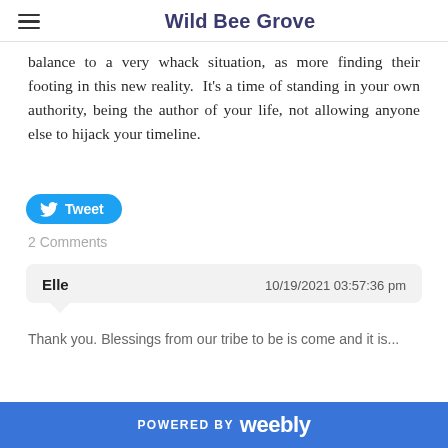Wild Bee Grove
balance to a very whack situation, as more finding their footing in this new reality.  It's a time of standing in your own authority, being the author of your life, not allowing anyone else to hijack your timeline.
[Figure (other): Twitter Tweet button]
2 Comments
Elle    10/19/2021 03:57:36 pm
Thank you. Blessings from our tribe to be is come and it is...
POWERED BY weebly